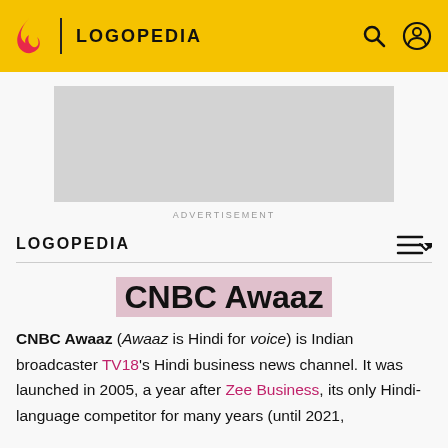LOGOPEDIA
[Figure (other): Advertisement placeholder rectangle (grey box)]
ADVERTISEMENT
LOGOPEDIA
CNBC Awaaz
CNBC Awaaz (Awaaz is Hindi for voice) is Indian broadcaster TV18's Hindi business news channel. It was launched in 2005, a year after Zee Business, its only Hindi-language competitor for many years (until 2021,